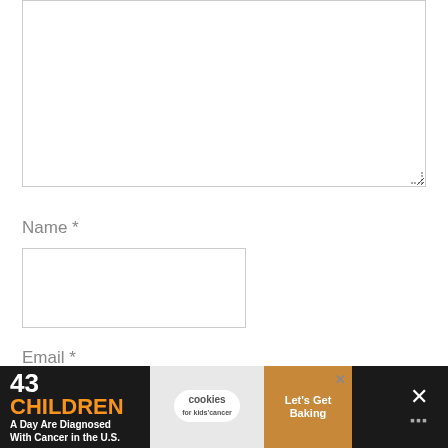[Figure (screenshot): A comment textarea input box with a resize handle in the bottom right corner]
Name *
[Figure (screenshot): A Name text input field box]
Email *
[Figure (screenshot): An Email text input field box]
[Figure (infographic): Advertisement banner: '43 CHILDREN A Day Are Diagnosed With Cancer in the U.S.' with cookies for kids cancer logo and 'Let's Get Baking' text on cookie background]